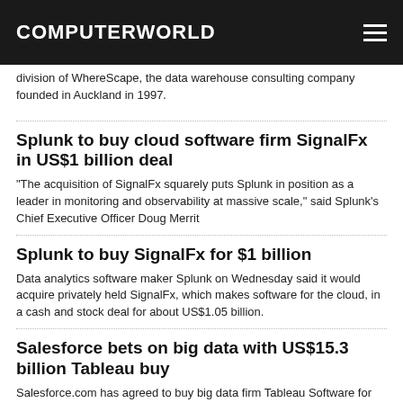COMPUTERWORLD
division of WhereScape, the data warehouse consulting company founded in Auckland in 1997.
Splunk to buy cloud software firm SignalFx in US$1 billion deal
"The acquisition of SignalFx squarely puts Splunk in position as a leader in monitoring and observability at massive scale," said Splunk's Chief Executive Officer Doug Merrit
Splunk to buy SignalFx for $1 billion
Data analytics software maker Splunk on Wednesday said it would acquire privately held SignalFx, which makes software for the cloud, in a cash and stock deal for about US$1.05 billion.
Salesforce bets on big data with US$15.3 billion Tableau buy
Salesforce.com has agreed to buy big data firm Tableau Software for US$15.3 billion, adding muscle in its fight with Microsoft for a bigger share of the market that helps businesses target customers with tools